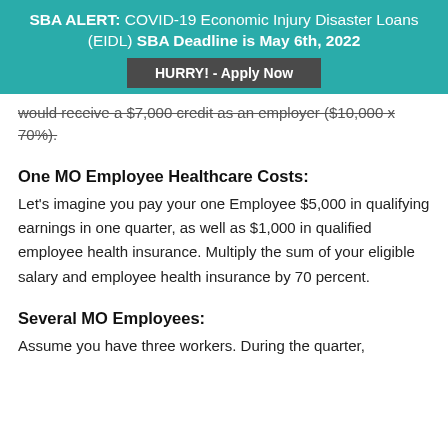SBA ALERT: COVID-19 Economic Injury Disaster Loans (EIDL) SBA Deadline is May 6th, 2022
HURRY! - Apply Now
would receive a $7,000 credit as an employer ($10,000 x 70%).
One MO Employee Healthcare Costs:
Let’s imagine you pay your one Employee $5,000 in qualifying earnings in one quarter, as well as $1,000 in qualified employee health insurance. Multiply the sum of your eligible salary and employee health insurance by 70 percent.
Several MO Employees:
Assume you have three workers. During the quarter,